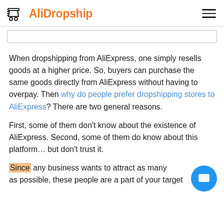AliDropship
When dropshipping from AliExpress, one simply resells goods at a higher price. So, buyers can purchase the same goods directly from AliExpress without having to overpay. Then why do people prefer dropshipping stores to AliExpress? There are two general reasons.
First, some of them don’t know about the existence of AliExpress. Second, some of them do know about this platform… but don’t trust it.
Since any business wants to attract as many as possible, these people are a part of your target